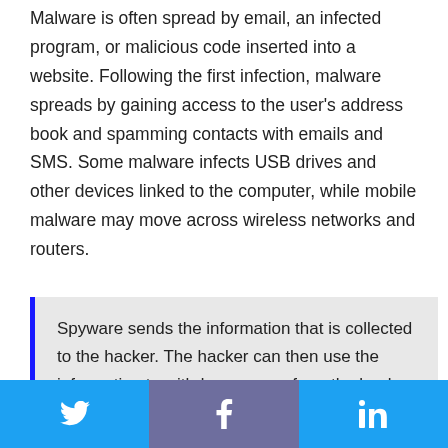Malware is often spread by email, an infected program, or malicious code inserted into a website. Following the first infection, malware spreads by gaining access to the user's address book and spamming contacts with emails and SMS. Some malware infects USB drives and other devices linked to the computer, while mobile malware may move across wireless networks and routers.
Spyware sends the information that is collected to the hacker. The hacker can then use the information to withdraw money from the bank, perform online transactions,